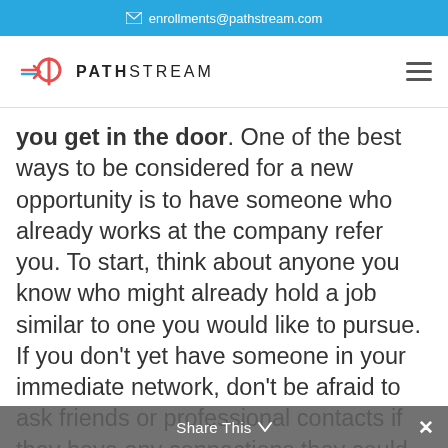enrollments@pathstream.com
[Figure (logo): Pathstream logo with a stylized P icon in red/orange/blue and the text PATHSTREAM in bold sans-serif]
you get in the door. One of the best ways to be considered for a new opportunity is to have someone who already works at the company refer you. To start, think about anyone you know who might already hold a job similar to one you would like to pursue. If you don't yet have someone in your immediate network, don't be afraid to ask friends or professional contacts if they have any connections they could introduce you to
Share This